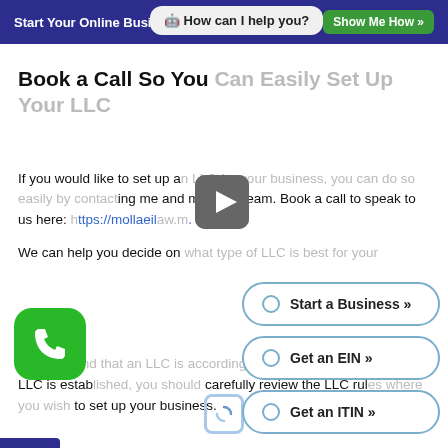Start Your Online Business Confidently   Show Me How »
🤖 How can I help you?
Book a Call So You Can Easily Set Up Your LLC
If you would like to set up an LLC for your business, you can do so easily by contacting me and my legal team. Book a call to speak to us here: https://mollaeillaw.com.
We can help you decide on what type of LLC is best for your
Start a Business »
Keep in mind that an LLC is according to the state laws where an LLC is established, you should carefully review the LLC rules where you wish to set up your business.
Get an EIN »
Get an ITIN »